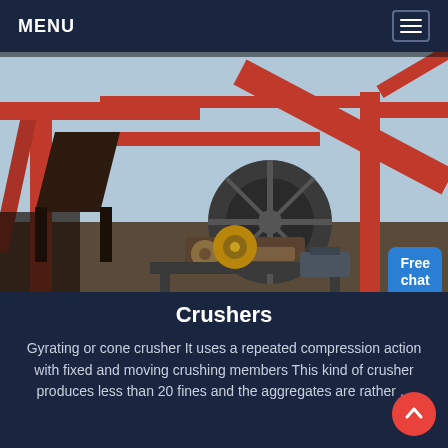MENU
[Figure (photo): Industrial crusher machinery facility — large red metal structures, conveyor belts, mechanical wheels and gears, outdoor industrial setting with steel frameworks and equipment.]
Crushers
Gyrating or cone crusher It uses a repeated compression action with fixed and moving crushing members This kind of crusher produces less than 20 fines and the aggregates are rather ...